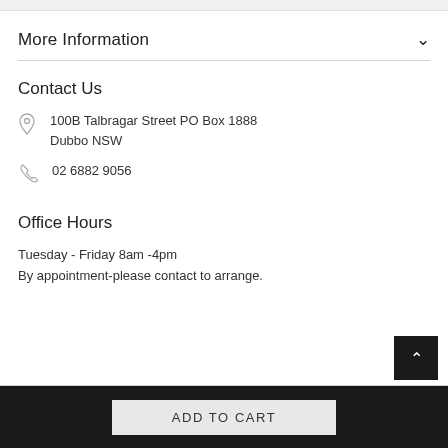More Information
Contact Us
100B Talbragar Street PO Box 1888
Dubbo NSW
02 6882 9056
Office Hours
Tuesday - Friday 8am -4pm
By appointment-please contact to arrange.
ADD TO CART